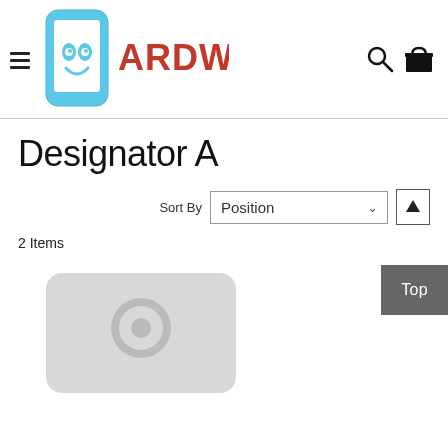[Figure (logo): Aardwolf brand logo with hamburger menu icon, phone graphic with smiley face, and red ARDWOLF text]
Designator A
Sort By  Position
2 Items
[Figure (screenshot): Gray rounded rectangle placeholder thumbnail for a product image at bottom of page]
Top